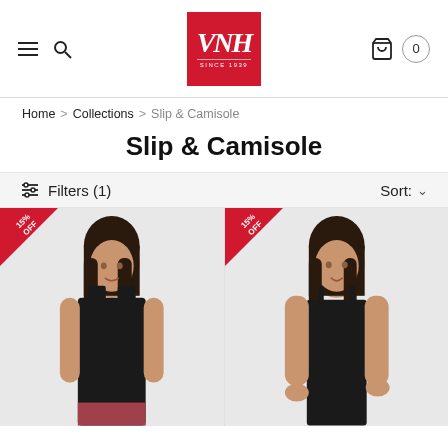[Figure (logo): VNH Since 1939 logo in red square]
Home > Collections > Slip & Camisole
Slip & Camisole
Filters (1)   Sort: ∨
[Figure (photo): Woman wearing black camisole with wide straps, 15% OFF badge]
[Figure (photo): Woman wearing black camisole with thin straps, 15% OFF badge]